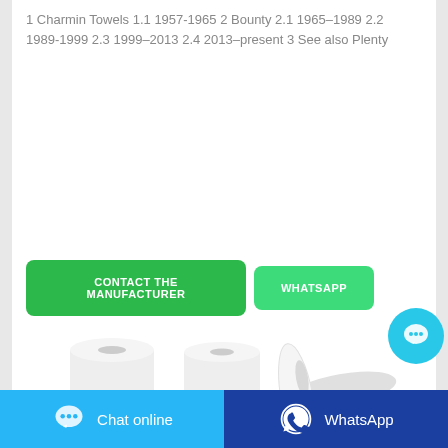1 Charmin Towels 1.1 1957-1965 2 Bounty 2.1 1965–1989 2.2 1989-1999 2.3 1999–2013 2.4 2013–present 3 See also Plenty
[Figure (other): Two green buttons: 'CONTACT THE MANUFACTURER' and 'WHATSAPP']
[Figure (photo): Paper towel rolls image showing multiple rolls of white paper towels]
[Figure (other): Cyan circular chat bubble button in bottom right of main panel]
Chat online
WhatsApp